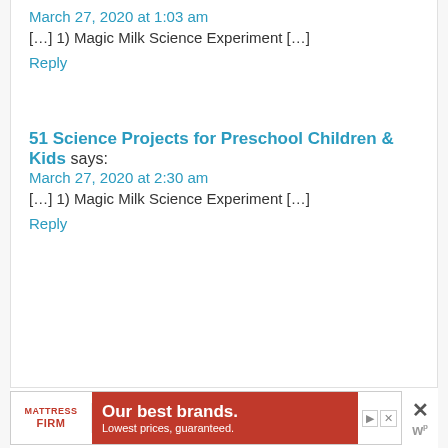March 27, 2020 at 1:03 am
[…] 1) Magic Milk Science Experiment […]
Reply
51 Science Projects for Preschool Children & Kids says:
March 27, 2020 at 2:30 am
[…] 1) Magic Milk Science Experiment […]
Reply
[Figure (infographic): Mattress Firm advertisement banner with red background: 'Our best brands. Lowest prices, guaranteed.']